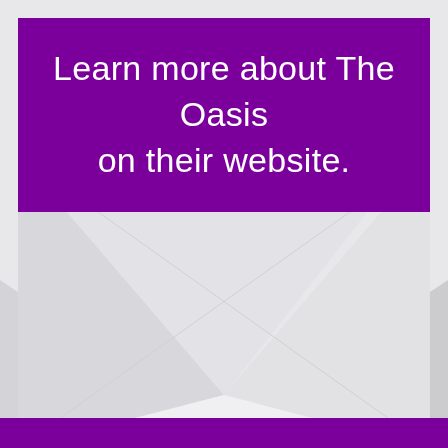Learn more about The Oasis on their website.
[Figure (illustration): Envelope graphic showing an open envelope with triangular flaps forming an X pattern in light gray on a light gray background]